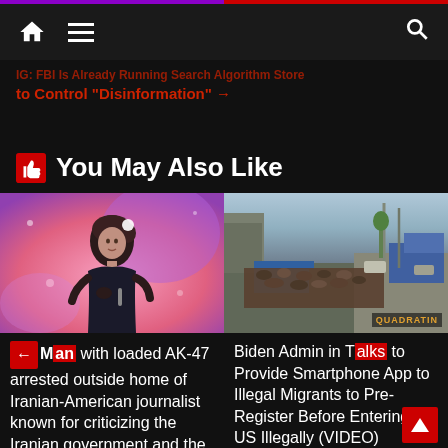Navigation bar with home, menu, and search icons
to Control “Disinformation” →
👍 You May Also Like
[Figure (photo): Woman in black dress on stage with pink/purple background]
Man with loaded AK-47 arrested outside home of Iranian-American journalist known for criticizing the Iranian government and the hijab
[Figure (photo): Aerial view of large crowd of migrants on a road, QUADRATIN watermark]
Biden Admin in Talks to Provide Smartphone App to Illegal Migrants to Pre-Register Before Entering the US Illegally (VIDEO)